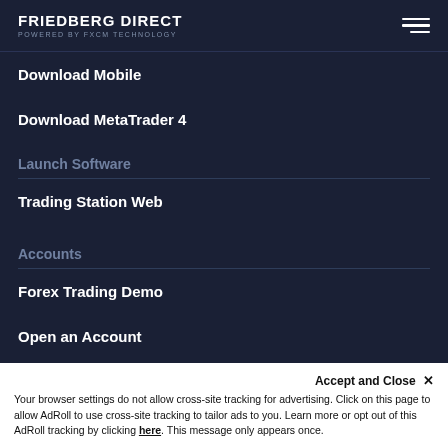FRIEDBERG DIRECT POWERED BY FXCM TECHNOLOGY
Download Mobile
Download MetaTrader 4
Launch Software
Trading Station Web
Accounts
Forex Trading Demo
Open an Account
Manage Account/Deposit
Accept and Close ✕
Your browser settings do not allow cross-site tracking for advertising. Click on this page to allow AdRoll to use cross-site tracking to tailor ads to you. Learn more or opt out of this AdRoll tracking by clicking here. This message only appears once.